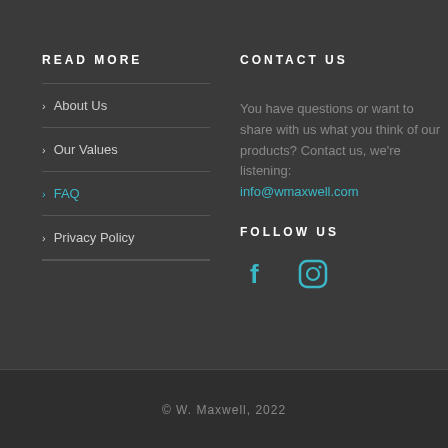READ MORE
About Us
Our Values
FAQ
Privacy Policy
CONTACT US
You have questions or want to share with us what you think of our products? Contact us, we're listening: info@wmaxwell.com
FOLLOW US
[Figure (infographic): Facebook and Instagram social media icons in teal color]
© W. Maxwell, 2022